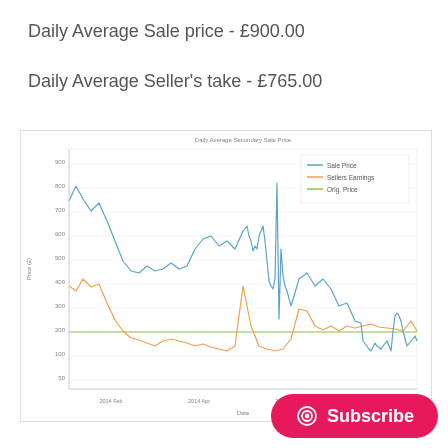Daily Average Sale price - £900.00
Daily Average Seller's take - £765.00
[Figure (line-chart): Line chart showing Daily Average Secondary Sale Price over time with three series: Sale Price (blue), Sellers Earnings (orange), Orig. Price (green flat line). X-axis shows dates from ~2014 to ~2014 May. Y-axis shows values roughly 50 to 900+.]